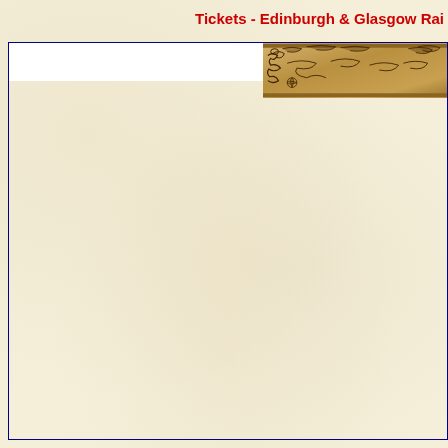Tickets  -  Edinburgh & Glasgow Rai
[Figure (photo): Partial view of an antique railway ticket with decorative border/engraving, brownish/tan coloring, showing ornate floral or scroll design, cropped at the right edge of the page. Below it is a large empty cream/parchment-colored area within a blue border frame.]